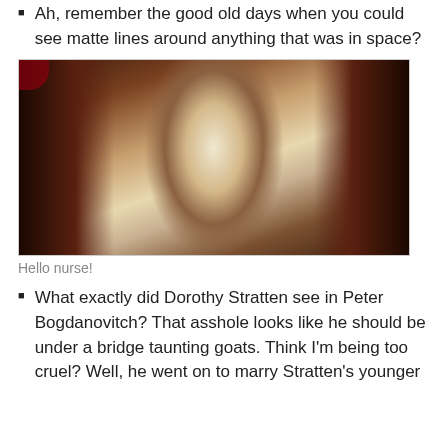Ah, remember the good old days when you could see matte lines around anything that was in space?
[Figure (photo): A blonde woman in a white outfit standing in a glowing oval alcove, with dark reddish-brown surroundings on either side, resembling a sci-fi scene.]
Hello nurse!
What exactly did Dorothy Stratten see in Peter Bogdanovitch? That asshole looks like he should be under a bridge taunting goats. Think I'm being too cruel? Well, he went on to marry Stratten's younger